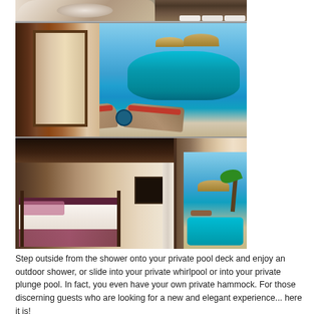[Figure (photo): Three hotel resort photos: top strip showing bathroom/towel details, middle photo showing outdoor pool deck with lounge chairs and thatched umbrellas on beach, bottom photo showing luxury bedroom interior with four-poster bed and beach/pool view]
Step outside from the shower onto your private pool deck and enjoy an outdoor shower, or slide into your private whirlpool or into your private plunge pool. In fact, you even have your own private hammock. For those discerning guests who are looking for a new and elegant experience... here it is!